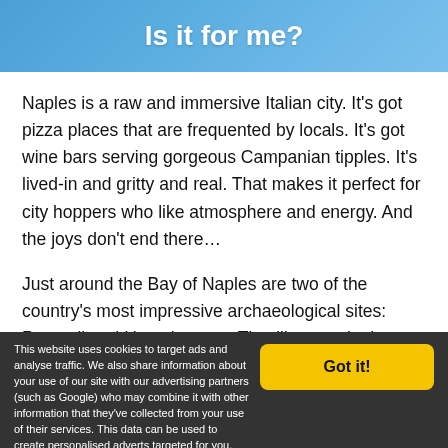Is it for me?
Naples is a raw and immersive Italian city. It's got pizza places that are frequented by locals. It's got wine bars serving gorgeous Campanian tipples. It's lived-in and gritty and real. That makes it perfect for city hoppers who like atmosphere and energy. And the joys don't end there…
Just around the Bay of Naples are two of the country's most impressive archaeological sites: Pompeii and Herculaneum. They'll entertain the history lovers, along with the likes of the Castel dell'Ovo and the vast
This website uses cookies to target ads and analyse traffic. We also share information about your use of our site with our advertising partners (such as Google) who may combine it with other information that they've collected from your use of their services. This data can be used to create personalised adverts targeted for you. More Info